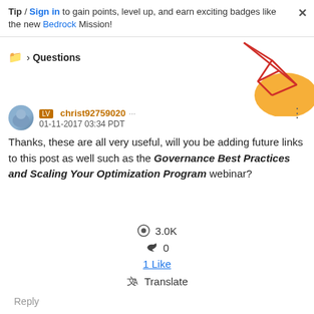Tip / Sign in to gain points, level up, and earn exciting badges like the new Bedrock Mission!
▶ Questions
[Figure (illustration): Decorative geometric graphic with red lines and orange shape in top right corner]
christ92759020 [badge] · 01-11-2017 03:34 PDT
Thanks, these are all very useful, will you be adding future links to this post as well such as the Governance Best Practices and Scaling Your Optimization Program webinar?
👁 3.0K
↩ 0
1 Like
🔤 Translate
Reply